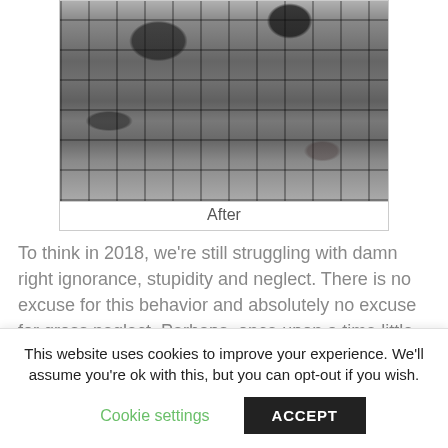[Figure (photo): Photograph of a wet cobblestone floor/pavement surface viewed from above, black and white/grayscale, showing stone tiles with mortar joints. Dark footwear visible at top edge.]
After
To think in 2018, we're still struggling with damn right ignorance, stupidity and neglect. There is no excuse for this behavior and absolutely no excuse for gross neglect. Perhaps, once upon a time little Marty was part of someones family, suddenly he's surplus to requirements,
This website uses cookies to improve your experience. We'll assume you're ok with this, but you can opt-out if you wish.
Cookie settings    ACCEPT